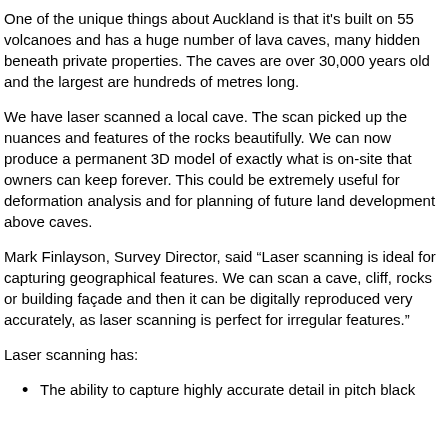One of the unique things about Auckland is that it’s built on 55 volcanoes and has a huge number of lava caves, many hidden beneath private properties.  The caves are over 30,000 years old and the largest are hundreds of metres long.
We have laser scanned a local cave.  The scan picked up the nuances and features of the rocks beautifully.  We can now produce a permanent 3D model of exactly what is on-site that owners can keep forever.  This could be extremely useful for deformation analysis and for planning of future land development above caves.
Mark Finlayson, Survey Director, said “Laser scanning is ideal for capturing geographical features.  We can scan a cave, cliff, rocks or building façade and then it can be digitally reproduced very accurately, as laser scanning is perfect for irregular features.”
Laser scanning has:
The ability to capture highly accurate detail in pitch black